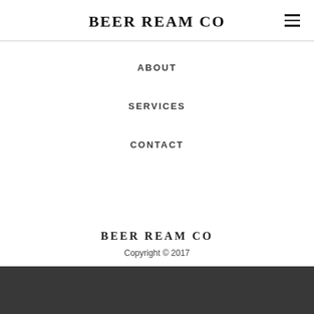BEER REAM CO
ABOUT
SERVICES
CONTACT
BEER REAM CO
Copyright © 2017